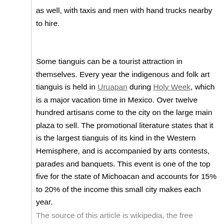as well, with taxis and men with hand trucks nearby to hire.
Some tianguis can be a tourist attraction in themselves. Every year the indigenous and folk art tianguis is held in Uruapan during Holy Week, which is a major vacation time in Mexico. Over twelve hundred artisans come to the city on the large main plaza to sell. The promotional literature states that it is the largest tianguis of its kind in the Western Hemisphere, and is accompanied by arts contests, parades and banquets. This event is one of the top five for the state of Michoacan and accounts for 15% to 20% of the income this small city makes each year.
The source of this article is wikipedia, the free